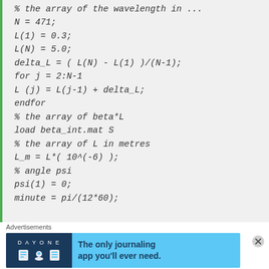% the array of the wavelength in ...
N = 471;
L(1) = 0.3;
L(N) = 5.0;
delta_L = ( L(N) - L(1) )/(N-1);
for j = 2:N-1
L (j) = L(j-1) + delta_L;
endfor
% the array of beta*L
load beta_int.mat S
% the array of L in metres
L_m = L*( 10^(-6) );
% angle psi
psi(1) = 0;
minute = pi/(12*60);
Advertisements
[Figure (other): Day One journaling app advertisement banner with blue background, app icons, and text 'The only journaling app you'll ever need.']